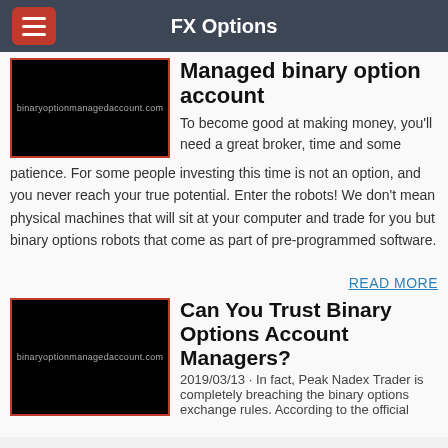FX Options
Managed binary option account
[Figure (screenshot): Black thumbnail image with text binaryoptionmanagedaccount.com]
To become good at making money, you'll need a great broker, time and some patience. For some people investing this time is not an option, and you never reach your true potential. Enter the robots! We don't mean physical machines that will sit at your computer and trade for you but binary options robots that come as part of pre-programmed software.
READ MORE
[Figure (screenshot): Black thumbnail image with text binaryoptionmanagedaccount.com]
Can You Trust Binary Options Account Managers?
2019/03/13 · In fact, Peak Nadex Trader is completely breaching the binary options exchange rules. According to the official